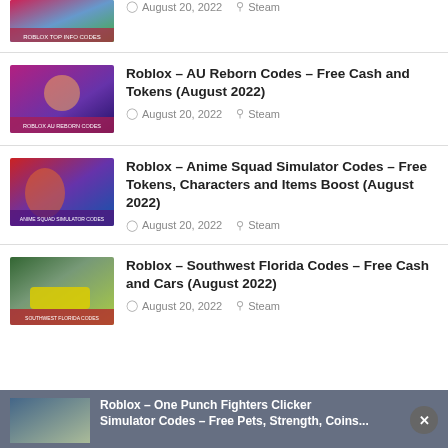[Figure (photo): Partial thumbnail of a Roblox game article at top]
August 20, 2022  Steam
Roblox – AU Reborn Codes – Free Cash and Tokens (August 2022)
August 20, 2022  Steam
Roblox – Anime Squad Simulator Codes – Free Tokens, Characters and Items Boost (August 2022)
August 20, 2022  Steam
Roblox – Southwest Florida Codes – Free Cash and Cars (August 2022)
August 20, 2022  Steam
Roblox – One Punch Fighters Clicker Simulator Codes – Free Pets, Strength, Coins...